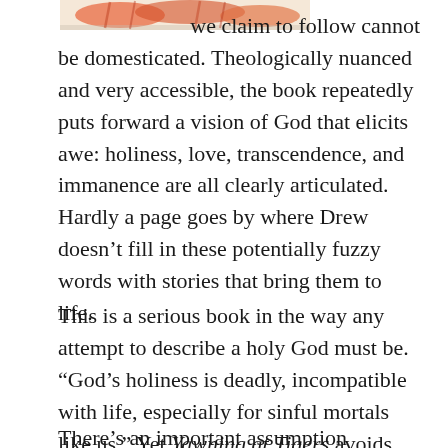[Figure (illustration): Partial book cover image showing orange/red illustrated tigers or decorative elements at the top of the page]
we claim to follow cannot be domesticated. Theologically nuanced and very accessible, the book repeatedly puts forward a vision of God that elicits awe: holiness, love, transcendence, and immanence are all clearly articulated. Hardly a page goes by where Drew doesn't fill in these potentially fuzzy words with stories that bring them to life.
This is a serious book in the way any attempt to describe a holy God must be. “God’s holiness is deadly, incompatible with life, especially for sinful mortals like us.” Yet Yawning at Tigers avoids heavy-handedness because Drew is more interested in describing God than in defending him.
There’s an important assumption running throughout the